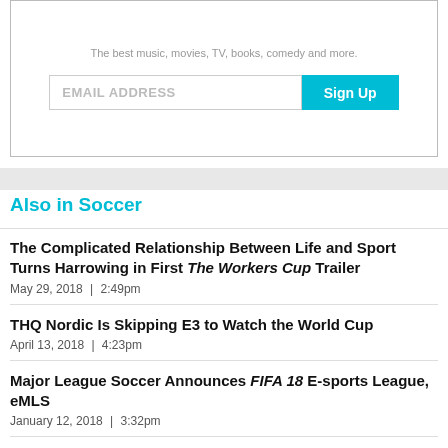The best music, movies, TV, books, comedy and more.
[Figure (screenshot): Email newsletter signup form with an EMAIL ADDRESS input field and a cyan Sign Up button]
Also in Soccer
The Complicated Relationship Between Life and Sport Turns Harrowing in First The Workers Cup Trailer
May 29, 2018  |  2:49pm
THQ Nordic Is Skipping E3 to Watch the World Cup
April 13, 2018  |  4:23pm
Major League Soccer Announces FIFA 18 E-sports League, eMLS
January 12, 2018  |  3:32pm
A Quick Look At MLS' Insufficient Plan To Boost Their TV Ratings